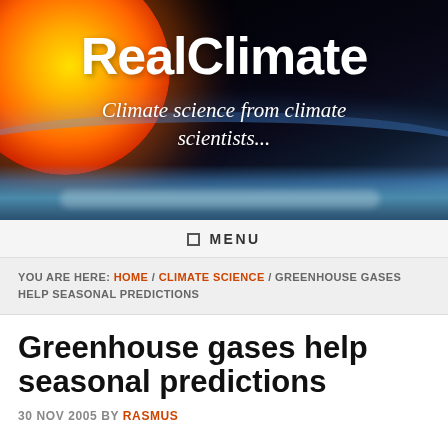[Figure (illustration): RealClimate website banner with an orange/red sun top-left and Earth's horizon at the bottom against a dark space background. White bold text reads 'RealClimate' and italic text reads 'Climate science from climate scientists...']
☰ MENU
YOU ARE HERE: HOME / CLIMATE SCIENCE / GREENHOUSE GASES HELP SEASONAL PREDICTIONS
Greenhouse gases help seasonal predictions
30 NOV 2005 BY RASMUS